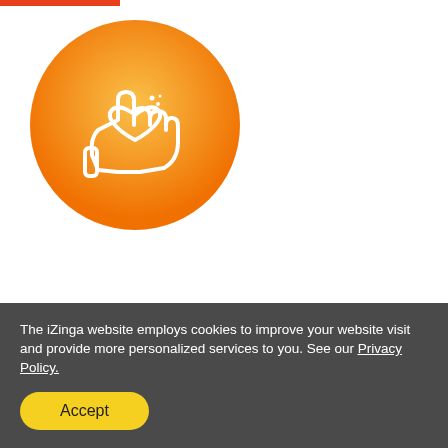[Figure (illustration): Orange gradient circle with white line-art icon of a hand holding a heart]
Our NPO Requirements
If you are from a non-profit organisation, a voluntary
The iZinga website employs cookies to improve your website visit and provide more personalized services to you. See our Privacy Policy.
Accept